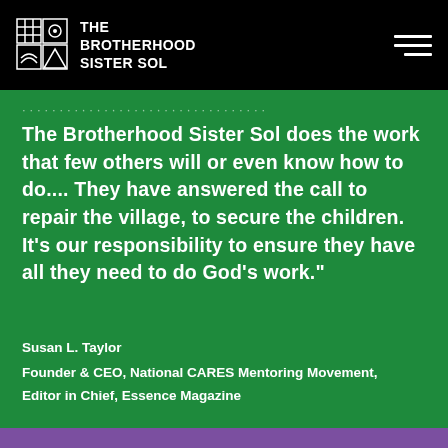THE BROTHERHOOD SISTER SOL
The Brotherhood Sister Sol does the work that few others will or even know how to do.... They have answered the call to repair the village, to secure the children. It's our responsibility to ensure they have all they need to do God's work."
Susan L. Taylor
Founder & CEO, National CARES Mentoring Movement, Editor in Chief, Essence Magazine